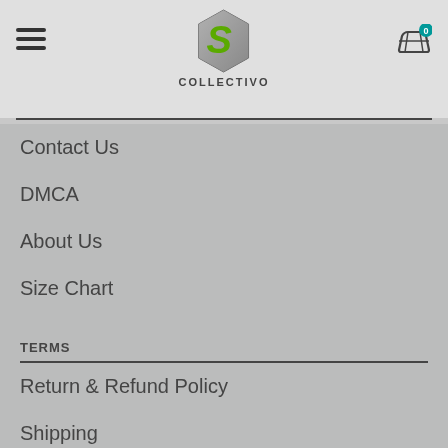COLLECTIVO
Contact Us
DMCA
About Us
Size Chart
TERMS
Return & Refund Policy
Shipping
Privacy Policy
Terms of Service
Billing T&C